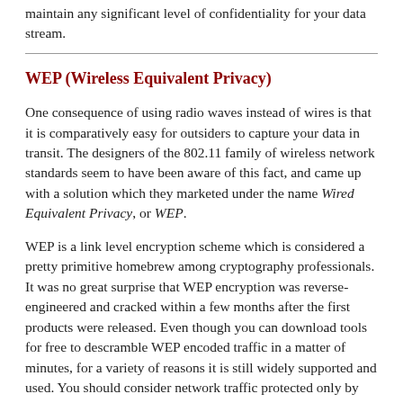maintain any significant level of confidentiality for your data stream.
WEP (Wireless Equivalent Privacy)
One consequence of using radio waves instead of wires is that it is comparatively easy for outsiders to capture your data in transit. The designers of the 802.11 family of wireless network standards seem to have been aware of this fact, and came up with a solution which they marketed under the name Wired Equivalent Privacy, or WEP.
WEP is a link level encryption scheme which is considered a pretty primitive homebrew among cryptography professionals. It was no great surprise that WEP encryption was reverse-engineered and cracked within a few months after the first products were released. Even though you can download tools for free to descramble WEP encoded traffic in a matter of minutes, for a variety of reasons it is still widely supported and used. You should consider network traffic protected only by WEP to be only marginally more secure than data broadcast in the clear. Then again, the token effort